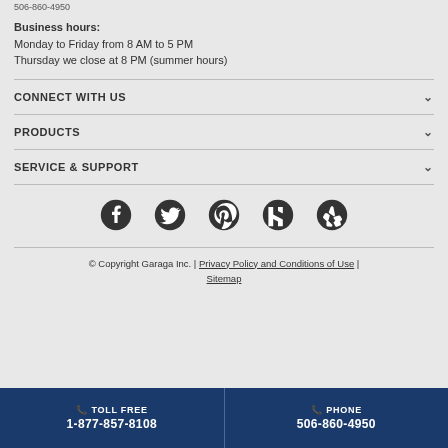506-860-4950
Business hours:
Monday to Friday from 8 AM to 5 PM
Thursday we close at 8 PM (summer hours)
CONNECT WITH US
PRODUCTS
SERVICE & SUPPORT
[Figure (infographic): Row of 5 social media icons: Facebook, Twitter, Pinterest, Houzz, Yelp]
© Copyright Garaga Inc. | Privacy Policy and Conditions of Use | Sitemap
TOLL FREE 1-877-857-8108 | PHONE 506-860-4950